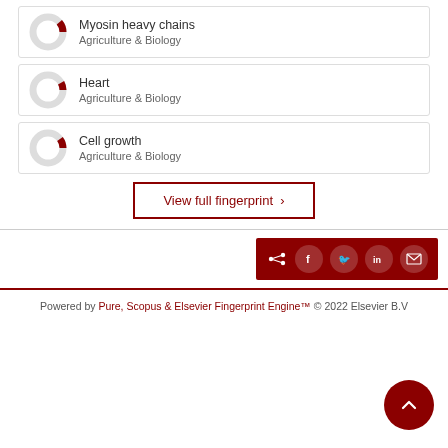[Figure (donut-chart): Partial donut chart icon for Myosin heavy chains, Agriculture & Biology]
Myosin heavy chains
Agriculture & Biology
[Figure (donut-chart): Partial donut chart icon for Heart, Agriculture & Biology]
Heart
Agriculture & Biology
[Figure (donut-chart): Partial donut chart icon for Cell growth, Agriculture & Biology]
Cell growth
Agriculture & Biology
View full fingerprint ›
[Figure (infographic): Share bar with social media icons: share, Facebook, Twitter, LinkedIn, email]
Powered by Pure, Scopus & Elsevier Fingerprint Engine™ © 2022 Elsevier B.V